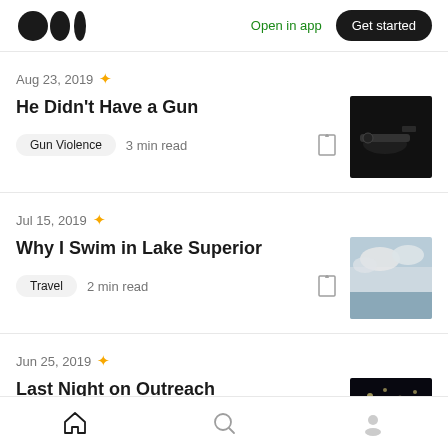Medium logo | Open in app | Get started
Aug 23, 2019 ★
He Didn't Have a Gun
Gun Violence  3 min read
[Figure (photo): Dark photo of a gun]
Jul 15, 2019 ★
Why I Swim in Lake Superior
Travel  2 min read
[Figure (photo): Photo of Lake Superior with cloudy sky]
Jun 25, 2019 ★
Last Night on Outreach
[Figure (photo): Dark night outreach photo]
Home | Search | Profile